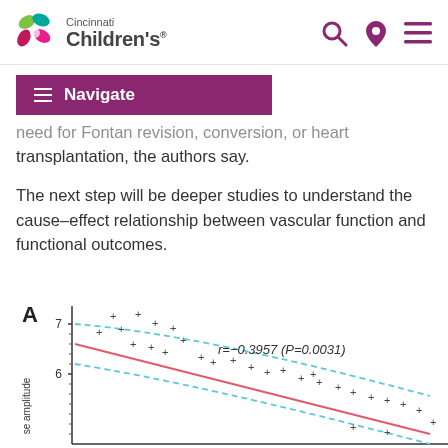Cincinnati Children's
Navigate
need for Fontan revision, conversion, or heart transplantation, the authors say.
The next step will be deeper studies to understand the cause–effect relationship between vascular function and functional outcomes.
[Figure (continuous-plot): Scatter plot with regression line (red) and 95% confidence interval (cyan dashed lines) showing a negative correlation. Y-axis labeled 'se amplitude', x-axis not visible. Label 'A' in top-left corner. Annotation: r=-0.3957 (P=0.0031). Data points scattered around a downward-sloping red trend line.]